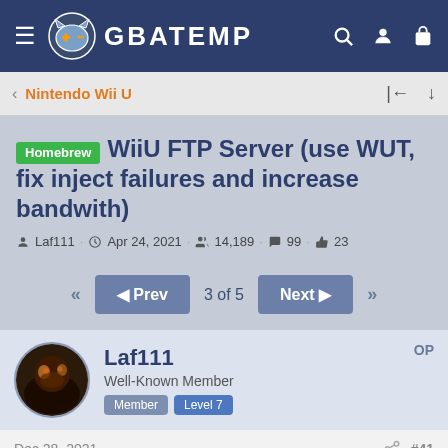GBATEMP
Nintendo Wii U
Homebrew WiiU FTP Server (use WUT, fix inject failures and increase bandwith)
Laf111 · Apr 24, 2021 · 14,189 · 99 · 23
« Prev  3 of 5  Next »
Laf111  OP
Well-Known Member
Member  Level 7
Dec 28, 2021  #41